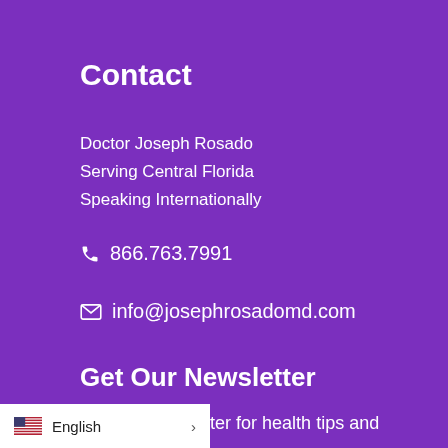Contact
Doctor Joseph Rosado
Serving Central Florida
Speaking Internationally
☎ 866.763.7991
✉ info@josephrosadomd.com
Get Our Newsletter
Join our newsletter for health tips and t to your inbox.